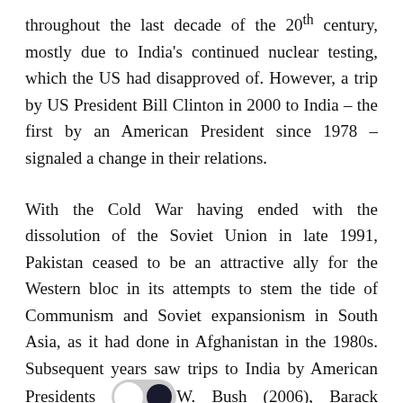throughout the last decade of the 20th century, mostly due to India's continued nuclear testing, which the US had disapproved of. However, a trip by US President Bill Clinton in 2000 to India – the first by an American President since 1978 – signaled a change in their relations.
With the Cold War having ended with the dissolution of the Soviet Union in late 1991, Pakistan ceased to be an attractive ally for the Western bloc in its attempts to stem the tide of Communism and Soviet expansionism in South Asia, as it had done in Afghanistan in the 1980s. Subsequent years saw trips to India by American Presidents [toggle icon] W. Bush (2006), Barack Obama (2010 and 2015), and